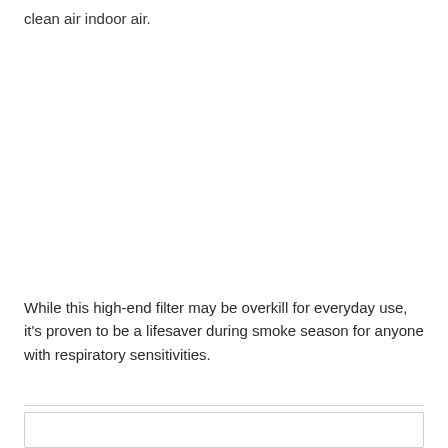clean air indoor air.
While this high-end filter may be overkill for everyday use, it's proven to be a lifesaver during smoke season for anyone with respiratory sensitivities.
Testing the IQ Air during smoke